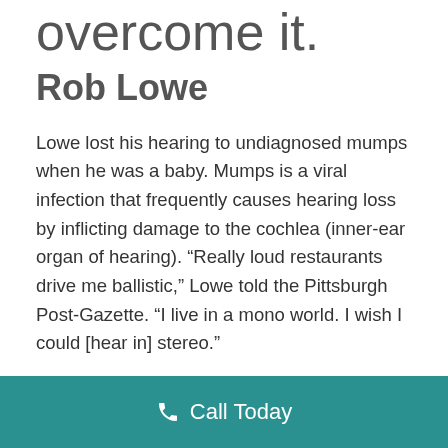overcome it.
Rob Lowe
Lowe lost his hearing to undiagnosed mumps when he was a baby. Mumps is a viral infection that frequently causes hearing loss by inflicting damage to the cochlea (inner-ear organ of hearing). “Really loud restaurants drive me ballistic,” Lowe told the Pittsburgh Post-Gazette. “I live in a mono world. I wish I could [hear in] stereo.”
Some hearing aid styles offer directional sound for 360° hearing, feedback cancellation, and enhanced noise reduction for noisy or windy
Call Today